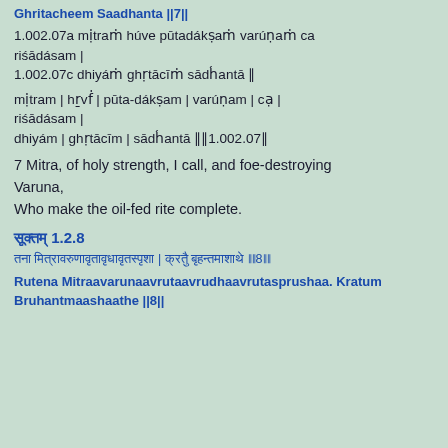Ghritacheem Saadhanta ||7||
1.002.07a mitraṁ huve pūtadákṣaṁ varuṇaṁ ca riśādásam |
1.002.07c dhiyám ghṛtācīṁ sādhántā ||
mitraṁ | huve | pūta-dákṣam | varuṇam | ca | riśādásam |
dhiyám | ghṛtācīm | sādhántā ||1.002.07||
7 Mitra, of holy strength, I call, and foe-destroying Varuna,
Who make the oil-fed rite complete.
सूक्तम् 1.2.8
ऋतेन मित्रावरुणावृतावृधावृतस्पृशा | क्रतुं बृहन्तमाशाथे ||8||
Rutena Mitraavarunaavrutaavrudhaavrutasprushaa. Kratum Bruhantmaashaathe ||8||